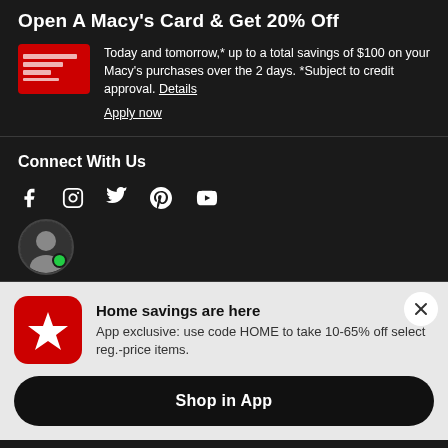Open A Macy's Card & Get 20% Off
Today and tomorrow,* up to a total savings of $100 on your Macy's purchases over the 2 days. *Subject to credit approval. Details
Apply now
Connect With Us
[Figure (illustration): Social media icons: Facebook, Instagram, Twitter, Pinterest, YouTube]
[Figure (photo): Chat agent avatar with green online status dot]
Home savings are here
App exclusive: use code HOME to take 10-65% off select reg.-price items.
Shop in App